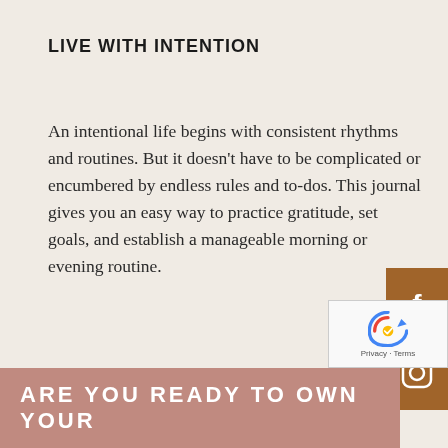LIVE WITH INTENTION
An intentional life begins with consistent rhythms and routines. But it doesn't have to be complicated or encumbered by endless rules and to-dos. This journal gives you an easy way to practice gratitude, set goals, and establish a manageable morning or evening routine.
[Figure (other): Facebook and Instagram social media icon buttons in brown/tan color on the right side of the page]
[Figure (other): reCAPTCHA widget in bottom right corner with privacy and terms links]
ARE YOU READY TO OWN YOUR